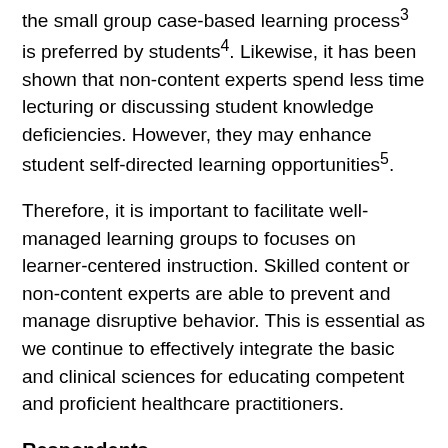the small group case-based learning process³ is preferred by students⁴. Likewise, it has been shown that non-content experts spend less time lecturing or discussing student knowledge deficiencies. However, they may enhance student self-directed learning opportunities⁵.
Therefore, it is important to facilitate well-managed learning groups to focuses on learner-centered instruction. Skilled content or non-content experts are able to prevent and manage disruptive behavior. This is essential as we continue to effectively integrate the basic and clinical sciences for educating competent and proficient healthcare practitioners.
Respondents
Students, what should students do if disruptive